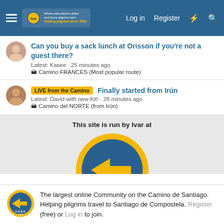Log in  Register
Can you buy a sack lunch at Orisson if you're not a guest there? Latest: Kasee · 25 minutes ago  🏔 Camino FRANCÉS (Most popular route)
LIVE from the Camino  Finally started from Irún Latest: David with new Kit! · 28 minutes ago  🏔 Camino del NORTE (from Irún)
This site is run by Ivar at
[Figure (logo): Casa Ivar / Camino de Santiago logo — blue circle with yellow arrow pointing left and text CASA]
The largest online Community on the Camino de Santiago. Helping pilgrims travel to Santiago de Compostela. Register (free) or Log in to join.